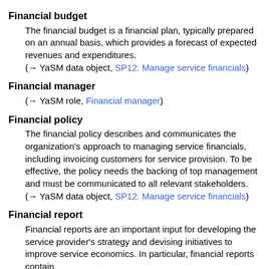Financial budget
The financial budget is a financial plan, typically prepared on an annual basis, which provides a forecast of expected revenues and expenditures.
(→ YaSM data object, SP12: Manage service financials)
Financial manager
(→ YaSM role, Financial manager)
Financial policy
The financial policy describes and communicates the organization's approach to managing service financials, including invoicing customers for service provision. To be effective, the policy needs the backing of top management and must be communicated to all relevant stakeholders.
(→ YaSM data object, SP12: Manage service financials)
Financial report
Financial reports are an important input for developing the service provider's strategy and devising initiatives to improve service economics. In particular, financial reports contain